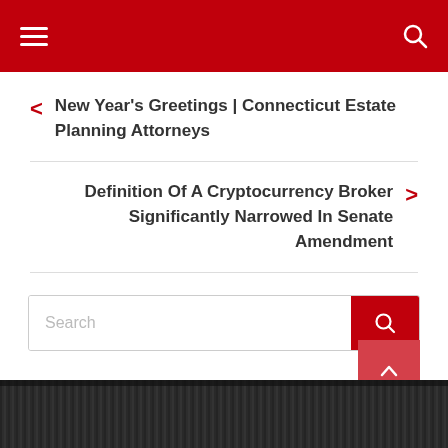Navigation header with hamburger menu and search icon
< New Year's Greetings | Connecticut Estate Planning Attorneys
Definition Of A Cryptocurrency Broker Significantly Narrowed In Senate Amendment >
Search
[Figure (photo): Dark grayscale image at bottom of page, partially visible]